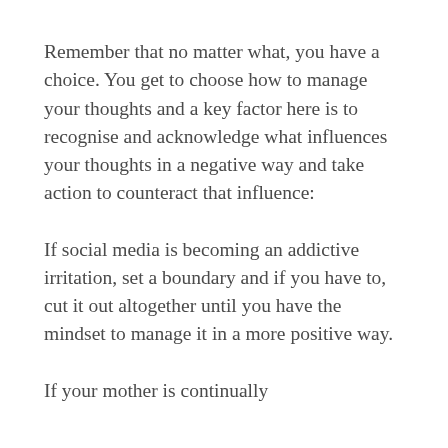Remember that no matter what, you have a choice. You get to choose how to manage your thoughts and a key factor here is to recognise and acknowledge what influences your thoughts in a negative way and take action to counteract that influence:
If social media is becoming an addictive irritation, set a boundary and if you have to, cut it out altogether until you have the mindset to manage it in a more positive way.
If your mother is continually